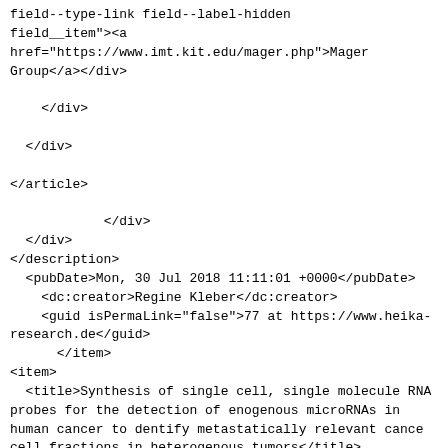field--type-link field--label-hidden
field__item"&gt;&lt;a
href="https://www.imt.kit.edu/mager.php"&gt;Mager
Group&lt;/a&gt;&lt;/div&gt;

    &lt;/div&gt;

  &lt;/div&gt;

&lt;/article&gt;

            &lt;/div&gt;
  &lt;/div&gt;
</description>
  <pubDate>Mon, 30 Jul 2018 11:11:01 +0000</pubDate>
    <dc:creator>Regine Kleber</dc:creator>
    <guid isPermaLink="false">77 at https://www.heika-research.de</guid>
      </item>
<item>
  <title>Synthesis of single cell, single molecule RNA probes for the detection of enogenous microRNAs in human cancer to dentify metastatically relevant cance cell fractions in heterogenous tumors</title>
  <link>https://www.heika-research.de/index.php/en/research/advanced-imaging-platform-aip/synthesis-single-cell-single-molecule-rna-probes-detection</link>
  <description>&lt;span class="field field--name-title field--type-string field--label-hidden"&gt;Synthesis of